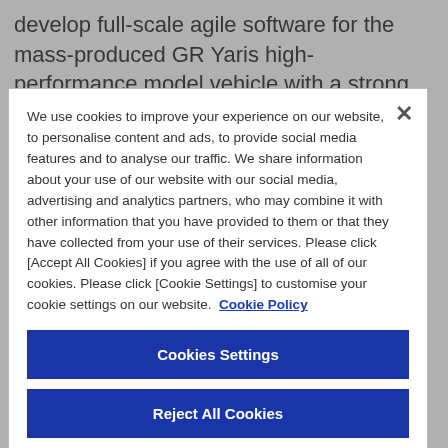develop full-scale agile software for the mass-produced GR Yaris high-performance model vehicle with a strong emphasis
We use cookies to improve your experience on our website, to personalise content and ads, to provide social media features and to analyse our traffic. We share information about your use of our website with our social media, advertising and analytics partners, who may combine it with other information that you have provided to them or that they have collected from your use of their services. Please click [Accept All Cookies] if you agree with the use of all of our cookies. Please click [Cookie Settings] to customise your cookie settings on our website. Cookie Policy
Cookies Settings
Reject All Cookies
Accept All Cookies